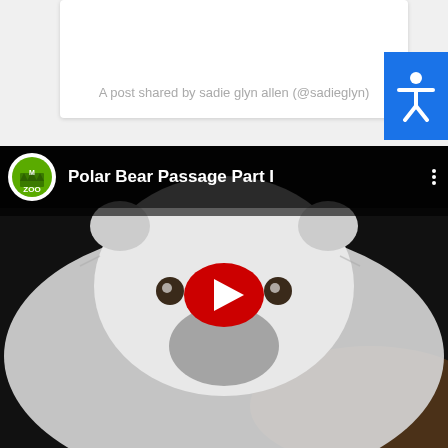A post shared by sadie glyn allen (@sadieglyn)
[Figure (screenshot): YouTube video thumbnail showing a polar bear close-up with Memphis Zoo logo, title 'Polar Bear Passage Part I', and a red play button overlay]
[Figure (illustration): Blue accessibility button with white human figure icon on the right edge]